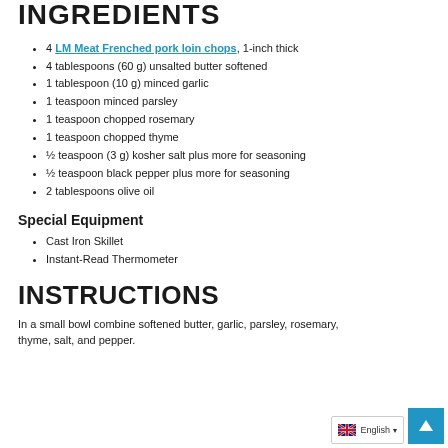INGREDIENTS
4 LM Meat Frenched pork loin chops, 1-inch thick
4 tablespoons (60 g) unsalted butter softened
1 tablespoon (10 g) minced garlic
1 teaspoon minced parsley
1 teaspoon chopped rosemary
1 teaspoon chopped thyme
½ teaspoon (3 g) kosher salt plus more for seasoning
½ teaspoon black pepper plus more for seasoning
2 tablespoons olive oil
Special Equipment
Cast Iron Skillet
Instant-Read Thermometer
INSTRUCTIONS
In a small bowl combine softened butter, garlic, parsley, rosemary, thyme, salt, and pepper.